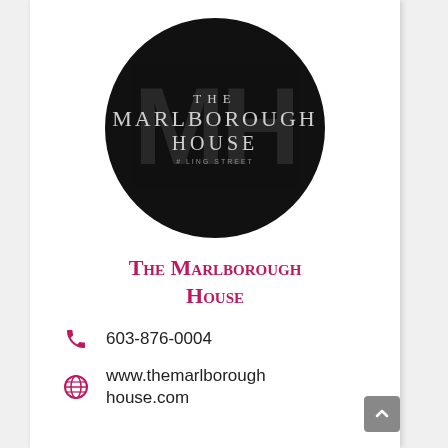[Figure (logo): Circular black logo with 'THE MARLBOROUGH HOUSE' text and faint MH monogram watermark, with '# LING STREET' subtitle]
The Marlborough House
603-876-0004
www.themarlboroughhouse.com